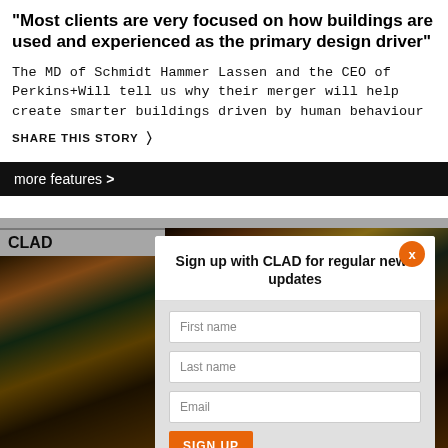"Most clients are very focused on how buildings are used and experienced as the primary design driver"
The MD of Schmidt Hammer Lassen and the CEO of Perkins+Will tell us why their merger will help create smarter buildings driven by human behaviour
SHARE THIS STORY
more features >
CLAD
[Figure (screenshot): Modal popup: Sign up with CLAD for regular news updates, with First name, Last name, Email fields and SIGN UP button]
Sign up with CLAD for regular news updates
First name
Last name
Email
SIGN UP